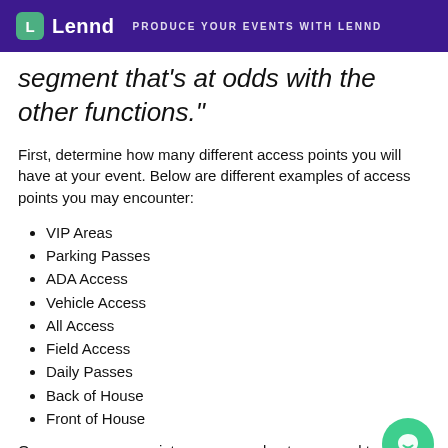Lennd — PRODUCE YOUR EVENTS WITH LENND
segment that's at odds with the other functions."
First, determine how many different access points you will have at your event. Below are different examples of access points you may encounter:
VIP Areas
Parking Passes
ADA Access
Vehicle Access
All Access
Field Access
Daily Passes
Back of House
Front of House
Once your access points are mapped out, you need to